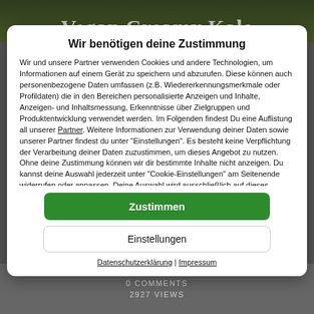[Figure (screenshot): Background image of a dark food photo with text 'Vegan Creamy Kale' overlaid in light serif font]
Wir benötigen deine Zustimmung
Wir und unsere Partner verwenden Cookies und andere Technologien, um Informationen auf einem Gerät zu speichern und abzurufen. Diese können auch personenbezogene Daten umfassen (z.B. Wiedererkennungsmerkmale oder Profildaten) die in den Bereichen personalisierte Anzeigen und Inhalte, Anzeigen- und Inhaltsmessung, Erkenntnisse über Zielgruppen und Produktentwicklung verwendet werden. Im Folgenden findest Du eine Auflistung all unserer Partner. Weitere Informationen zur Verwendung deiner Daten sowie unserer Partner findest du unter "Einstellungen". Es besteht keine Verpflichtung der Verarbeitung deiner Daten zuzustimmen, um dieses Angebot zu nutzen. Ohne deine Zustimmung können wir dir bestimmte Inhalte nicht anzeigen. Du kannst deine Auswahl jederzeit unter "Cookie-Einstellungen" am Seitenende widerrufen oder anpassen. Deine Auswahl wird ausschließlich auf dieses Angebot angewendet.
Zustimmen
Einstellungen
Datenschutzerklärung | Impressum
0 COMMENTS
2927 VIEWS